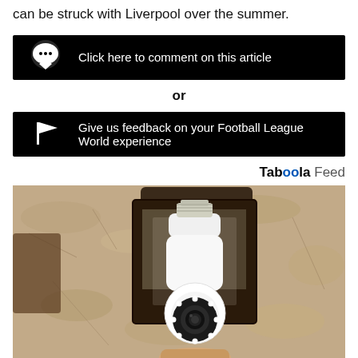can be struck with Liverpool over the summer.
[Figure (other): Black button bar with speech bubble icon and text: Click here to comment on this article]
or
[Figure (other): Black button bar with flag icon and text: Give us feedback on your Football League World experience]
Taboola Feed
[Figure (photo): Photograph of a security camera shaped like a light bulb installed in an outdoor lantern fixture mounted on a textured stone wall]